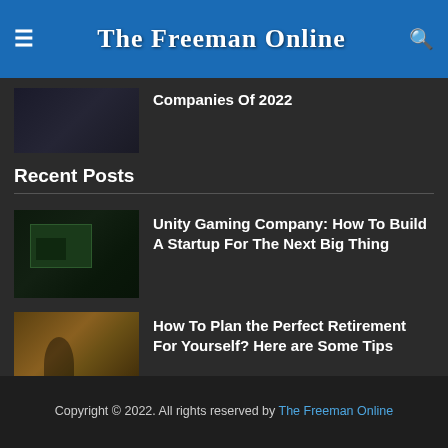The Freeman Online
Companies Of 2022
Recent Posts
Unity Gaming Company: How To Build A Startup For The Next Big Thing
How To Plan the Perfect Retirement For Yourself? Here are Some Tips
The 3 Best Software Development Companies Of 2022
Copyright © 2022. All rights reserved by The Freeman Online